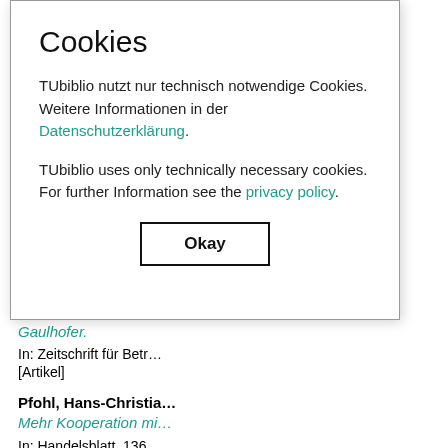Pfohl, Hans-Christian (1987): Breites Logistikwissen. Systemdenken verlangt neue Inhalte in der Aus- und Weiterbildung. In: Industrieanzeiger, 109 (71), S. 80-81. [Artikel]
Pfohl, Hans-Christian [clipped] Der Controller. Gerin[clipped] Linienmanager? Erw[clipped] Gaulhofer. In: Zeitschrift für Betr[clipped] [Artikel]
Pfohl, Hans-Christian [clipped] Mehr Kooperation mi[clipped] In: Handelsblatt, 136[clipped]
Pfohl, Hans-Christian [clipped] Noch mehr Arbeitste[clipped] Verkehrswirtschaft.
Cookies

TUbiblio nutzt nur technisch notwendige Cookies. Weitere Informationen in der Datenschutzerklärung.

TUbiblio uses only technically necessary cookies. For further Information see the privacy policy.

Okay